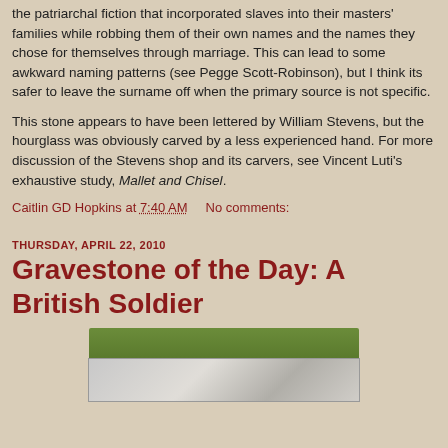the patriarchal fiction that incorporated slaves into their masters' families while robbing them of their own names and the names they chose for themselves through marriage. This can lead to some awkward naming patterns (see Pegge Scott-Robinson), but I think its safer to leave the surname off when the primary source is not specific.
This stone appears to have been lettered by William Stevens, but the hourglass was obviously carved by a less experienced hand. For more discussion of the Stevens shop and its carvers, see Vincent Luti's exhaustive study, Mallet and Chisel.
Caitlin GD Hopkins at 7:40 AM    No comments:
THURSDAY, APRIL 22, 2010
Gravestone of the Day: A British Soldier
[Figure (photo): Gravestone photograph partially visible at bottom of page, showing green grass and stone markers]